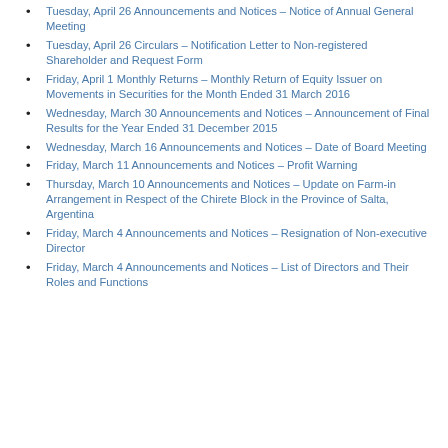Tuesday, April 26 Announcements and Notices – Notice of Annual General Meeting
Tuesday, April 26 Circulars – Notification Letter to Non-registered Shareholder and Request Form
Friday, April 1 Monthly Returns – Monthly Return of Equity Issuer on Movements in Securities for the Month Ended 31 March 2016
Wednesday, March 30 Announcements and Notices – Announcement of Final Results for the Year Ended 31 December 2015
Wednesday, March 16 Announcements and Notices – Date of Board Meeting
Friday, March 11 Announcements and Notices – Profit Warning
Thursday, March 10 Announcements and Notices – Update on Farm-in Arrangement in Respect of the Chirete Block in the Province of Salta, Argentina
Friday, March 4 Announcements and Notices – Resignation of Non-executive Director
Friday, March 4 Announcements and Notices – List of Directors and Their Roles and Functions